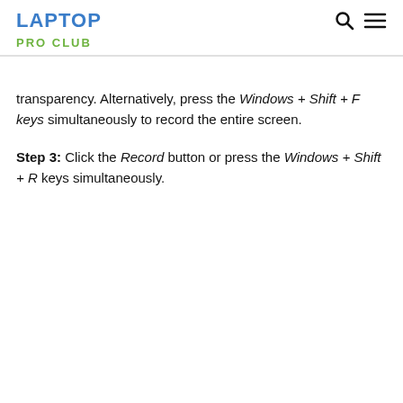LAPTOP PRO CLUB
transparency. Alternatively, press the Windows + Shift + F keys simultaneously to record the entire screen.
Step 3: Click the Record button or press the Windows + Shift + R keys simultaneously.